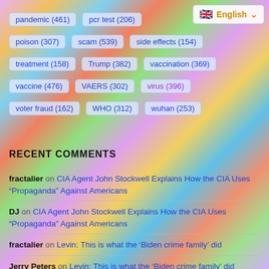[Figure (other): Colorful psychedelic swirling background covering entire page]
pandemic (461)
pcr test (206)
poison (307)
scam (539)
side effects (154)
treatment (158)
Trump (382)
vaccination (369)
vaccine (476)
VAERS (302)
virus (396)
voter fraud (162)
WHO (312)
wuhan (253)
🇬🇧 English
RECENT COMMENTS
fractalier on CIA Agent John Stockwell Explains How the CIA Uses “Propaganda” Against Americans
DJ on CIA Agent John Stockwell Explains How the CIA Uses “Propaganda” Against Americans
fractalier on Levin: This is what the ‘Biden crime family’ did
Jerry Peters on Levin: This is what the ‘Biden crime family’ did